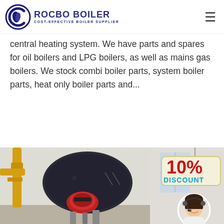ROCBO BOILER - COST-EFFECTIVE BOILER SUPPLIER
central heating system. We have parts and spares for oil boilers and LPG boilers, as well as mains gas boilers. We stock combi boiler parts, system boiler parts, heat only boiler parts and...
Get Price
[Figure (photo): Industrial gas boiler in a factory setting with yellow pipes on the left and a red burner at the front. Overlaid with a 10% DISCOUNT badge hanging from a string in the upper right, and a circular portrait of a smiling female customer service representative wearing a headset in the lower right.]